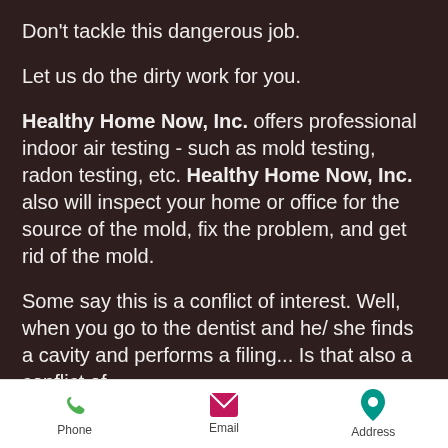Don't tackle this dangerous job.
Let us do the dirty work for you.
Healthy Home Now, Inc. offers professional indoor air testing - such as mold testing, radon testing, etc. Healthy Home Now, Inc. also will inspect your home or office for the source of the mold, fix the problem, and get rid of the mold.
Some say this is a conflict of interest. Well, when you go to the dentist and he/ she finds a cavity and performs a filing... Is that also a conflict of
Phone  Email  Address